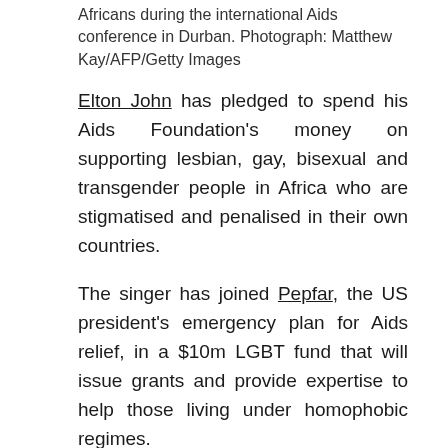Africans during the international Aids conference in Durban. Photograph: Matthew Kay/AFP/Getty Images
Elton John has pledged to spend his Aids Foundation's money on supporting lesbian, gay, bisexual and transgender people in Africa who are stigmatised and penalised in their own countries.
The singer has joined Pepfar, the US president's emergency plan for Aids relief, in a $10m LGBT fund that will issue grants and provide expertise to help those living under homophobic regimes.
John acknowledged that he could not persuade governments to change their values. "I know that certain governments in Africa will not respond to someone like me telling them you should do this, you should do that. I count for nothing as far as that goes.
"What I can do is ensure that people who are LGBT – if their clinics are closed down because they are LGBT – we can give them medicine. If they are arrested, we will get them legal aid," he said on Wednesday at